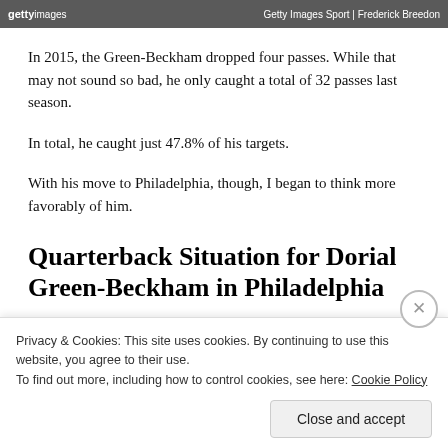[Figure (photo): Getty Images Sport photo banner with 'gettyimages' logo on left and 'Getty Images Sport | Frederick Breedon' credit on right, dark gray background]
In 2015, the Green-Beckham dropped four passes. While that may not sound so bad, he only caught a total of 32 passes last season.
In total, he caught just 47.8% of his targets.
With his move to Philadelphia, though, I began to think more favorably of him.
Quarterback Situation for Dorial Green-Beckham in Philadelphia
His quarterback situation is going to be better with Sam Bradford. It won't be great, but it will be better.
Privacy & Cookies: This site uses cookies. By continuing to use this website, you agree to their use.
To find out more, including how to control cookies, see here: Cookie Policy